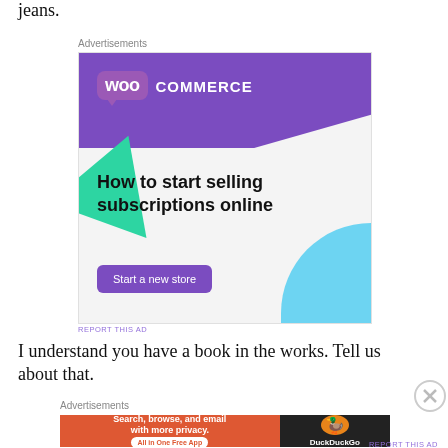jeans.
Advertisements
[Figure (screenshot): WooCommerce advertisement: 'How to start selling subscriptions online' with a 'Start a new store' button, purple and teal design.]
REPORT THIS AD
I understand you have a book in the works.  Tell us about that.
Advertisements
[Figure (screenshot): DuckDuckGo advertisement: 'Search, browse, and email with more privacy. All in One Free App' on orange background with DuckDuckGo duck logo on dark background.]
REPORT THIS AD